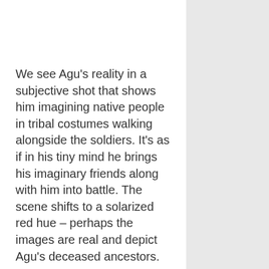We see Agu's reality in a subjective shot that shows him imagining native people in tribal costumes walking alongside the soldiers. It's as if in his tiny mind he brings his imaginary friends along with him into battle. The scene shifts to a solarized red hue – perhaps the images are real and depict Agu's deceased ancestors.
Director Cary Joji Fukunaga has previously helmed the feature films Jane Eyre and Sin Nombre but his best work was directing the first season (eight episodes) of True Detective. For Beasts, Fukunaga constantly ups the ante of war movie clichés to bring to the screen something rich and fresh. Fukunaga's use of music and sounds are surreal and ethereal,